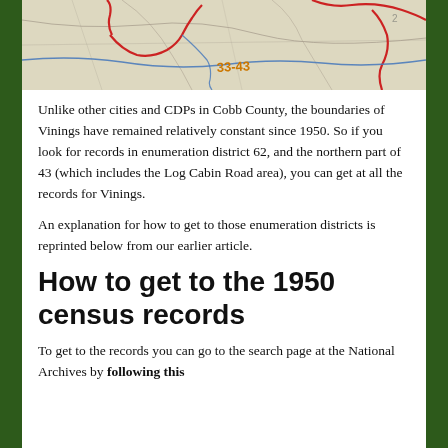[Figure (map): A historical map showing enumeration districts in Cobb County area, with red boundary lines, orange text showing '33-43', blue lines, and pencil markings on aged paper.]
Unlike other cities and CDPs in Cobb County, the boundaries of Vinings have remained relatively constant since 1950. So if you look for records in enumeration district 62, and the northern part of 43 (which includes the Log Cabin Road area), you can get at all the records for Vinings.
An explanation for how to get to those enumeration districts is reprinted below from our earlier article.
How to get to the 1950 census records
To get to the records you can go to the search page at the National Archives by following this